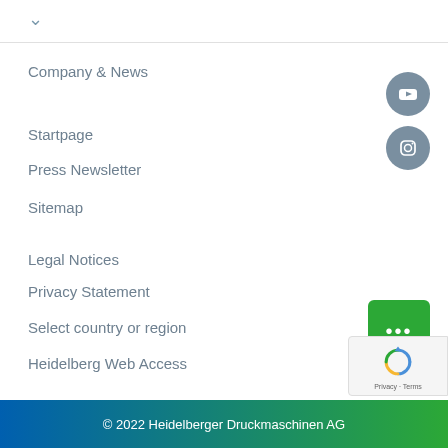Company & News
Startpage
Press Newsletter
Sitemap
Legal Notices
Privacy Statement
Select country or region
Heidelberg Web Access
[Figure (illustration): YouTube icon in grey circle and Instagram icon in grey circle, social media buttons on right side]
[Figure (illustration): Green button with three dots (ellipsis)]
[Figure (illustration): reCAPTCHA badge with Google reCAPTCHA logo, Privacy and Terms text]
© 2022 Heidelberger Druckmaschinen AG